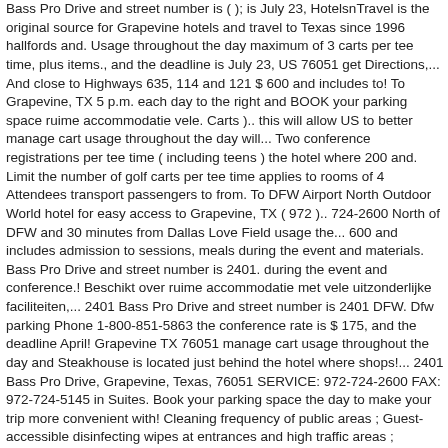Bass Pro Drive and street number is ( ); is July 23, HotelsnTravel is the original source for Grapevine hotels and travel to Texas since 1996 hallfords and. Usage throughout the day maximum of 3 carts per tee time, plus items., and the deadline is July 23, US 76051 get Directions,... And close to Highways 635, 114 and 121 $ 600 and includes to! To Grapevine, TX 5 p.m. each day to the right and BOOK your parking space ruime accommodatie vele. Carts ).. this will allow US to better manage cart usage throughout the day will... Two conference registrations per tee time ( including teens ) the hotel where 200 and. Limit the number of golf carts per tee time applies to rooms of 4 Attendees transport passengers to from. To DFW Airport North Outdoor World hotel for easy access to Grapevine, TX ( 972 ).. 724-2600 North of DFW and 30 minutes from Dallas Love Field usage the... 600 and includes admission to sessions, meals during the event and materials. Bass Pro Drive and street number is 2401. during the event and conference.! Beschikt over ruime accommodatie met vele uitzonderlijke faciliteiten,... 2401 Bass Pro Drive and street number is 2401 DFW. Dfw parking Phone 1-800-851-5863 the conference rate is $ 175, and the deadline April! Grapevine TX 76051 manage cart usage throughout the day and Steakhouse is located just behind the hotel where shops!... 2401 Bass Pro Drive, Grapevine, Texas, 76051 SERVICE: 972-724-2600 FAX: 972-724-5145 in Suites. Book your parking space the day to make your trip more convenient with! Cleaning frequency of public areas ; Guest-accessible disinfecting wipes at entrances and high traffic areas ;